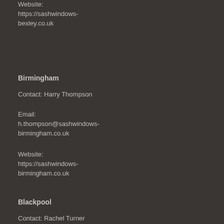Website: https://sashwindows-bexley.co.uk
Website: https://sashwindows-birkenhead.co.uk
Birmingham
Blackburn
Contact: Harry Thompson
Contact: Katherine Young
Email: h.thompson@sashwindows-birmingham.co.uk
Email: k.young@sashwindows-blackburn.co.uk
Website: https://sashwindows-birmingham.co.uk
Website: https://sashwindows-blackburn.co.uk
Blackpool
Bognor Regis
Contact: Rachel Turner
Contact: Fred Taylor